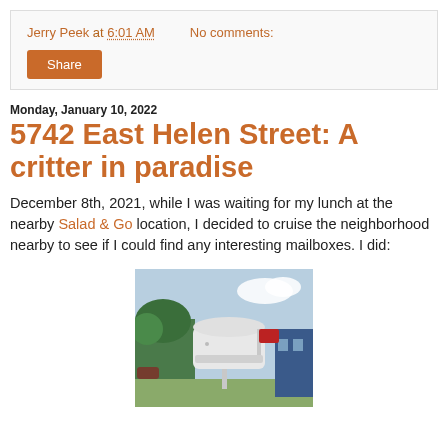Jerry Peek at 6:01 AM   No comments:
Share
Monday, January 10, 2022
5742 East Helen Street: A critter in paradise
December 8th, 2021, while I was waiting for my lunch at the nearby Salad & Go location, I decided to cruise the neighborhood nearby to see if I could find any interesting mailboxes. I did:
[Figure (photo): Photograph of a white traditional-style metal mailbox with a red flag on a post, outdoors with trees and blue sky in the background.]